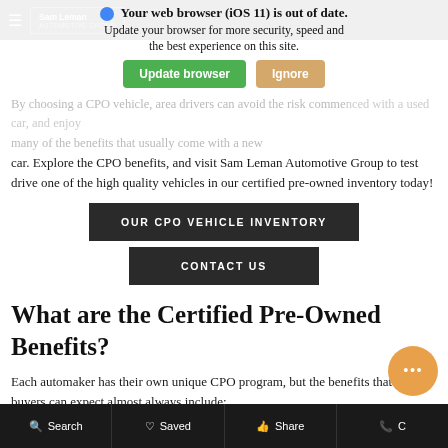[Figure (screenshot): Browser warning overlay: 'Your web browser (iOS 11) is out of date. Update your browser for more security, speed and the best experience on this site.' with green 'Update browser' button and tan 'Ignore' button]
By choosing a CPO vehicle, area drivers can avoid the risk commonly associated with a used car, and enjoy many of the benefits that usually come with a new car. Explore the CPO benefits, and visit Sam Leman Automotive Group to test drive one of the high quality vehicles in our certified pre-owned inventory today!
OUR CPO VEHICLE INVENTORY
CONTACT US
What are the Certified Pre-Owned Benefits?
Each automaker has their own unique CPO program, but the benefits that area buyers can expect almost always include:
Search   Saved   Share   C[all]